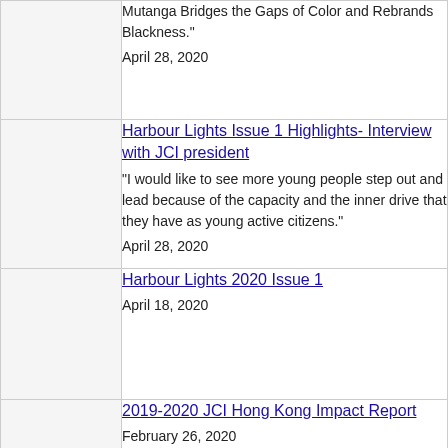Mutanga Bridges the Gaps of Color and Rebrands Blackness."
April 28, 2020
Harbour Lights Issue 1 Highlights- Interview with JCI president
“I would like to see more young people step out and lead because of the capacity and the inner drive that they have as young active citizens.”
April 28, 2020
Harbour Lights 2020 Issue 1
April 18, 2020
2019-2020 JCI Hong Kong Impact Report
February 26, 2020